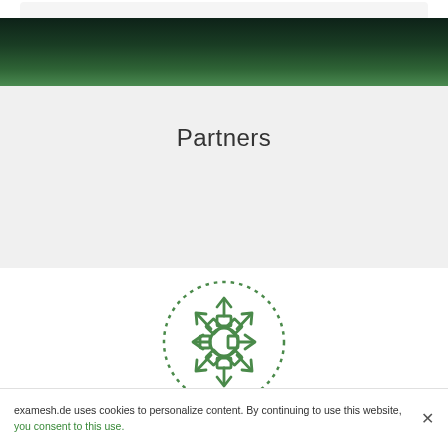[Figure (screenshot): Top dark green gradient banner with a light search bar at the very top]
Partners
[Figure (illustration): Green outlined icon of a circle with 8 arrows pointing outward in all directions, surrounded by a dotted circle border — representing distribution or network partnerships]
examesh.de uses cookies to personalize content. By continuing to use this website, you consent to this use.